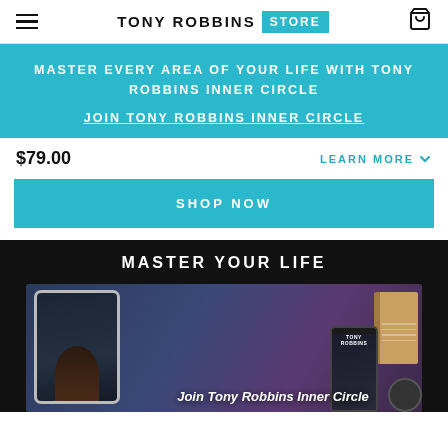TONY ROBBINS STORE
MASTER EVERY AREA OF YOUR LIFE WITH TONY ROBBINS INNER CIRCLE
JOIN TONY ROBBINS INNER CIRCLE
$79.00
LEARN MORE
SHOP NOW
MASTER YOUR LIFE
[Figure (photo): Product image showing a tablet, phone, and notebook with Tony Robbins Inner Circle branding on a blue-purple background, with text 'Join Tony Robbins Inner Circle']